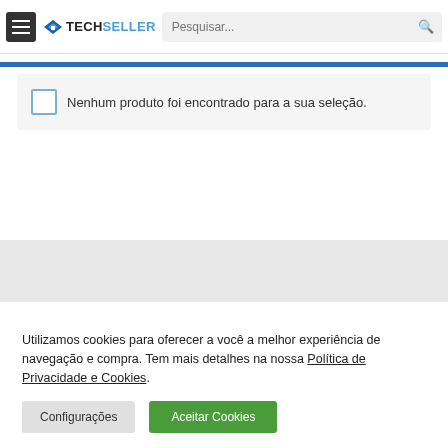TechSeller — Pesquisar...
Nenhum produto foi encontrado para a sua seleção.
Utilizamos cookies para oferecer a você a melhor experiência de navegação e compra. Tem mais detalhes na nossa Política de Privacidade e Cookies.
Configurações | Aceitar Cookies